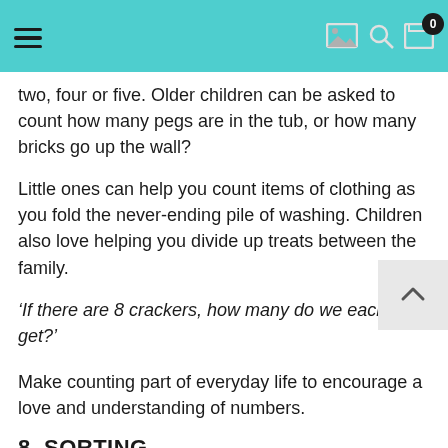Navigation header with hamburger menu and icons
two, four or five. Older children can be asked to count how many pegs are in the tub, or how many bricks go up the wall?
Little ones can help you count items of clothing as you fold the never-ending pile of washing. Children also love helping you divide up treats between the family.
‘If there are 8 crackers, how many do we each get?’
Make counting part of everyday life to encourage a love and understanding of numbers.
8. Sorting
Don’t put those pegs away! Can you ask your little one to make a pile of blue, a pile of red, and a pile of green pegs? You can find ways to make sorting fun using everyday items